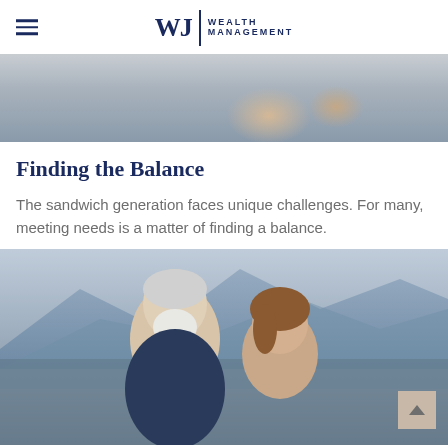WJ Wealth Management
[Figure (photo): Two people reviewing documents together, partial view from mid-section]
Finding the Balance
The sandwich generation faces unique challenges. For many, meeting needs is a matter of finding a balance.
[Figure (photo): Elderly couple smiling outdoors with mountain lake background; scroll-to-top button overlay]